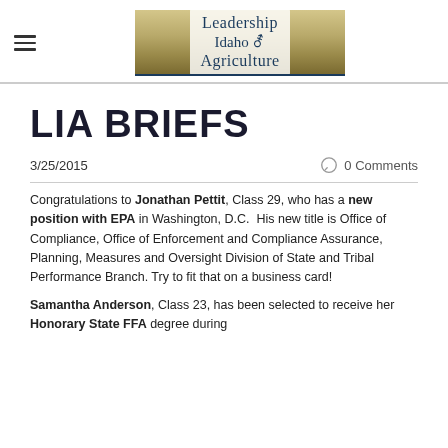Leadership Idaho Agriculture
LIA BRIEFS
3/25/2015
0 Comments
Congratulations to Jonathan Pettit, Class 29, who has a new position with EPA in Washington, D.C. His new title is Office of Compliance, Office of Enforcement and Compliance Assurance, Planning, Measures and Oversight Division of State and Tribal Performance Branch. Try to fit that on a business card!
Samantha Anderson, Class 23, has been selected to receive her Honorary State FFA degree during